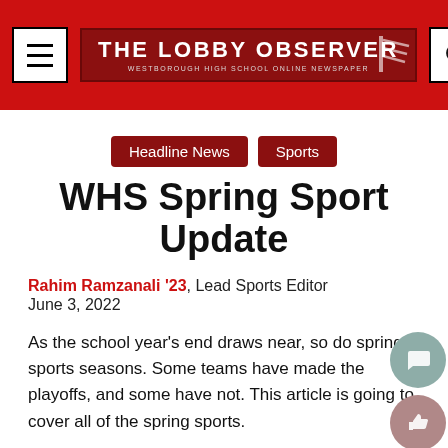THE LOBBY OBSERVER — WESTBOROUGH HIGH SCHOOL ONLINE NEWSPAPER
Headline News
Sports
WHS Spring Sport Update
Rahim Ramzanali '23, Lead Sports Editor
June 3, 2022
As the school year's end draws near, so do spring sports seasons. Some teams have made the playoffs, and some have not. This article is going to cover all of the spring sports.